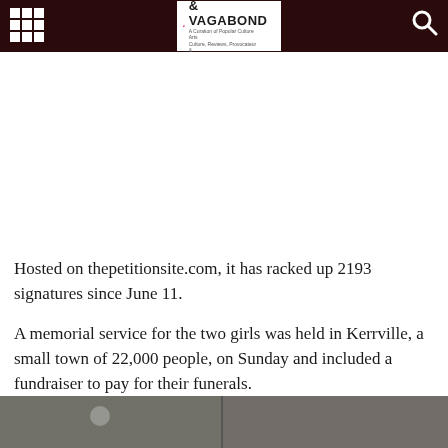Scallywag & Vagabond
Hosted on thepetitionsite.com, it has racked up 2193 signatures since June 11.
A memorial service for the two girls was held in Kerrville, a small town of 22,000 people, on Sunday and included a fundraiser to pay for their funerals.
[Figure (photo): Two photo thumbnails at bottom of page]